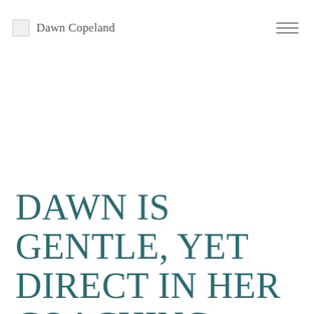Dawn Copeland
DAWN IS GENTLE, YET DIRECT IN HER COACHING. SHE UNDERSTAND YOU EVEN WHEN YOU